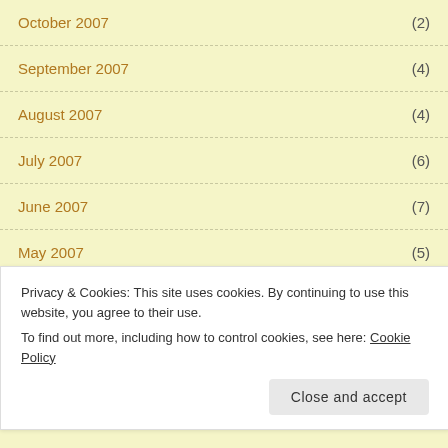October 2007 (2)
September 2007 (4)
August 2007 (4)
July 2007 (6)
June 2007 (7)
May 2007 (5)
April 2007 (2)
Privacy & Cookies: This site uses cookies. By continuing to use this website, you agree to their use.
To find out more, including how to control cookies, see here: Cookie Policy
Close and accept